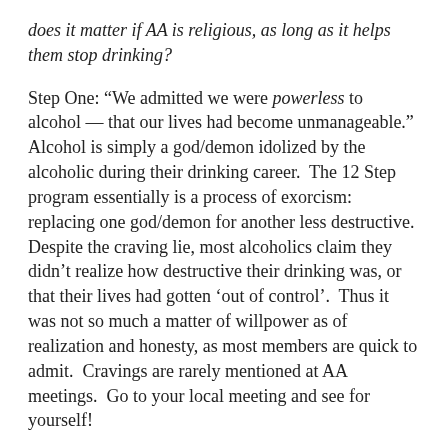does it matter if AA is religious, as long as it helps them stop drinking?
Step One: “We admitted we were powerless to alcohol — that our lives had become unmanageable.”  Alcohol is simply a god/demon idolized by the alcoholic during their drinking career.  The 12 Step program essentially is a process of exorcism: replacing one god/demon for another less destructive.  Despite the craving lie, most alcoholics claim they didn’t realize how destructive their drinking was, or that their lives had gotten ‘out of control’.  Thus it was not so much a matter of willpower as of realization and honesty, as most members are quick to admit.  Cravings are rarely mentioned at AA meetings.  Go to your local meeting and see for yourself!
Addiction Fiction
Each AA member has his own pet theory of the neurological basis of addiction, generally positing a rube-goldberg